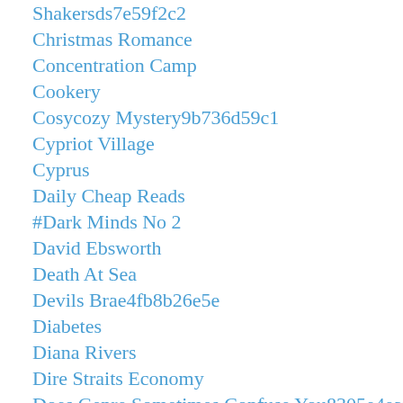Shakersds7e59f2c2
Christmas Romance
Concentration Camp
Cookery
Cosycozy Mystery9b736d59c1
Cypriot Village
Cyprus
Daily Cheap Reads
#Dark Minds No 2
David Ebsworth
Death At Sea
Devils Brae4fb8b26e5e
Diabetes
Diana Rivers
Dire Straits Economy
Does Genre Sometimes Confuse You8305e4eafc
Donna Fasano
Dont Lose Your Bottle Or Keep Your Pecker Up Take Couragee600336908
Drama
Drama And Romance